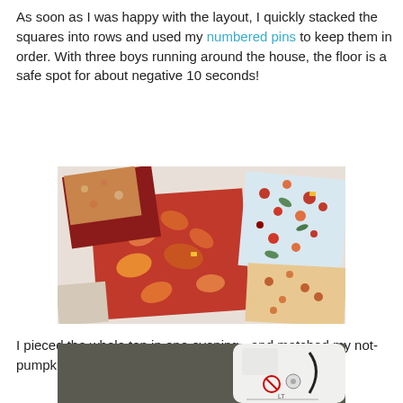As soon as I was happy with the layout, I quickly stacked the squares into rows and used my numbered pins to keep them in order. With three boys running around the house, the floor is a safe spot for about negative 10 seconds!
[Figure (photo): Fabric squares with autumn leaf and floral patterns stacked on a white surface, viewed from above at an angle.]
I pieced the whole top in one evening - and matched my not-pumpkin-spice-flavored drink with the fabric too!
[Figure (photo): Close-up of a white sewing machine on a dark gray/olive background, partially visible showing the top and needle area.]